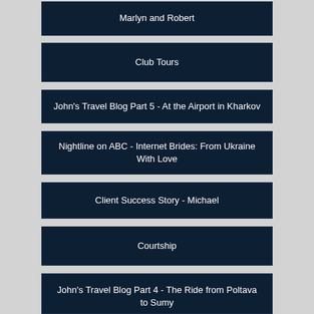Marlyn and Robert
Club Tours
John's Travel Blog Part 5 - At the Airport in Kharkov
Nightline on ABC - Internet Brides: From Ukraine With Love
Client Success Story - Michael
Courtship
John's Travel Blog Part 4 - The Ride from Poltava to Sumy